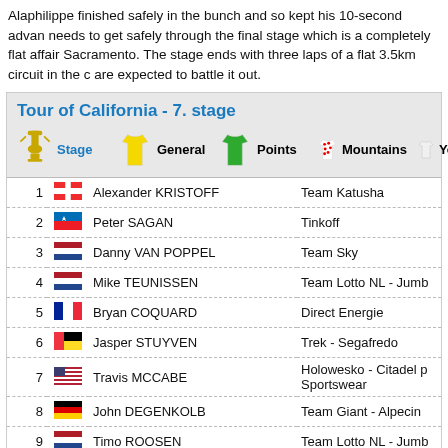Alaphilippe finished safely in the bunch and so kept his 10-second advance needs to get safely through the final stage which is a completely flat affair Sacramento. The stage ends with three laps of a flat 3.5km circuit in the c are expected to battle it out.
Tour of California - 7. stage
| # | Flag | Name | Team |
| --- | --- | --- | --- |
| 1 | NOR | Alexander KRISTOFF | Team Katusha |
| 2 | SVK | Peter SAGAN | Tinkoff |
| 3 | NED | Danny VAN POPPEL | Team Sky |
| 4 | NED | Mike TEUNISSEN | Team Lotto NL - Jumb |
| 5 | FRA | Bryan COQUARD | Direct Energie |
| 6 | BEL | Jasper STUYVEN | Trek - Segafredo |
| 7 | USA | Travis MCCABE | Holowesko - Citadel p Sportswear |
| 8 | GER | John DEGENKOLB | Team Giant - Alpecin |
| 9 | NED | Timo ROOSEN | Team Lotto NL - Jumb |
| 10 | POR | Ruben GUERREIRO | Axeon Hagens Berma |
| 11 | BEL | Greg VAN AVERMAET | BMC Racing Team |
| 12 | USA | Robin CARPENTER | Holowesko - Citadel p Sportswear |
| 13 | CZE | Petr VAKOC | Etixx - Quick Step |
| 14 | FRA | Julian ALAPHILIPPE | Etixx - Quick Step |